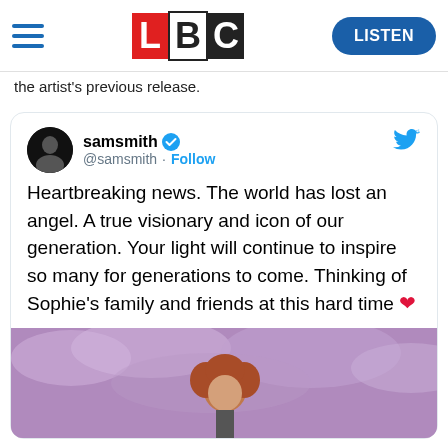LBC — LISTEN
the artist's previous release.
[Figure (screenshot): Embedded tweet from @samsmith with verified badge and Follow link. Tweet text: Heartbreaking news. The world has lost an angel. A true visionary and icon of our generation. Your light will continue to inspire so many for generations to come. Thinking of Sophie's family and friends at this hard time ❤️. Below the tweet text is a photo of a person with red curly hair against a purple cloudy background.]